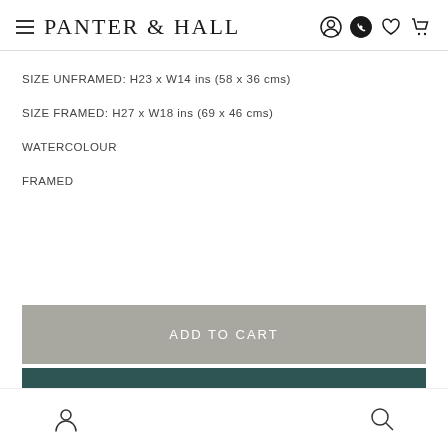PANTER & HALL
SIZE UNFRAMED: H23 x W14 ins (58 x 36 cms)
SIZE FRAMED: H27 x W18 ins (69 x 46 cms)
WATERCOLOUR
FRAMED
ADD TO CART
Buy it now